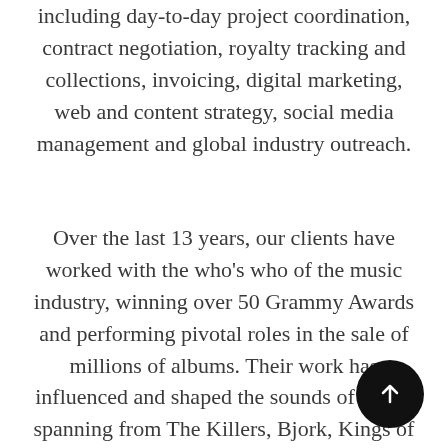including day-to-day project coordination, contract negotiation, royalty tracking and collections, invoicing, digital marketing, web and content strategy, social media management and global industry outreach.
Over the last 13 years, our clients have worked with the who's who of the music industry, winning over 50 Grammy Awards and performing pivotal roles in the sale of millions of albums. Their work has influenced and shaped the sounds of artists spanning from The Killers, Bjork, Kings of Leon, Jay-Z, Morrissey, Michael Jackson, The